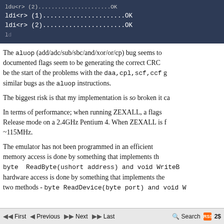[Figure (screenshot): Dark blue code terminal block showing assembly instructions: ldi<r> (2)...............OK and ldi<r> (1)...............OK and ldi<r> (2)...............OK with partial last line]
The aluop (add/adc/sub/sbc/and/xor/or/cp) bug seems to ... documented flags seem to be generating the correct CRC... be the start of the problems with the daa,cpl,scf,ccf g... similar bugs as the aluop instructions.
The biggest risk is that my implementation is so broken it ca...
In terms of performance; when running ZEXALL, a flags... Release mode on a 2.4GHz Pentium 4. When ZEXALL is f... ~115MHz.
The emulator has not been programmed in an efficient... memory access is done by something that implements th... byte ReadByte(ushort address) and void WriteB... hardware access is done by something that implements the... two methods - byte ReadDevice(byte port) and void W...
First  Previous  Next  Last    Search  RSS